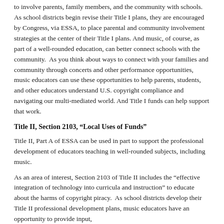to involve parents, family members, and the community with schools. As school districts begin revise their Title I plans, they are encouraged by Congress, via ESSA, to place parental and community involvement strategies at the center of their Title I plans. And music, of course, as part of a well-rounded education, can better connect schools with the community. As you think about ways to connect with your families and community through concerts and other performance opportunities, music educators can use these opportunities to help parents, students, and other educators understand U.S. copyright compliance and navigating our multi-mediated world. And Title I funds can help support that work.
Title II, Section 2103, “Local Uses of Funds”
Title II, Part A of ESSA can be used in part to support the professional development of educators teaching in well-rounded subjects, including music.
As an area of interest, Section 2103 of Title II includes the “effective integration of technology into curricula and instruction” to educate about the harms of copyright piracy. As school districts develop their Title II professional development plans, music educators have an opportunity to provide input, which can include advocating and an opportunity to provide input,